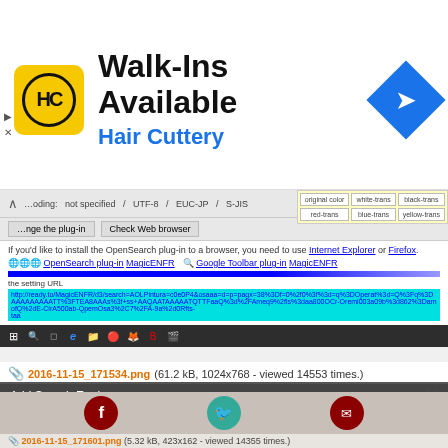[Figure (screenshot): Advertisement banner for Hair Cuttery salon with logo, 'Walk-Ins Available' text, and navigation icon]
[Figure (screenshot): Browser screenshot showing OpenSearch plug-in installation page with plugin links, blue URL bar, highlighted URL text, and Windows taskbar]
2016-11-15_171534.png (61.2 kB, 1024x768 - viewed 14553 times.)
[Figure (screenshot): Firefox 'Add Search Engine' dialog box asking to add MagicENFR to the search bar, with Add and Cancel buttons]
2016-11-15_171601.png (5.32 kB, 423x162 - viewed 14355 times.)